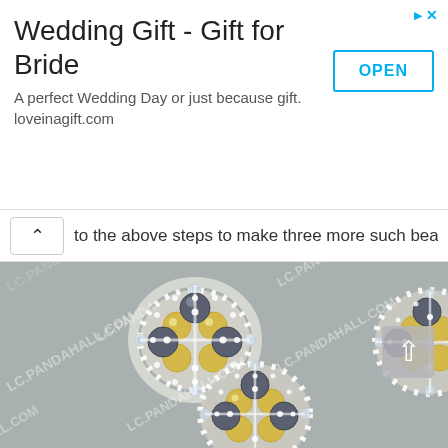[Figure (infographic): Advertisement banner for 'Wedding Gift - Gift for Bride' from loveinagift.com with an OPEN button and navigation arrow/close icons in blue]
to the above steps to make three more such bead ball pattern
[Figure (photo): Three decorative bead balls made with white, yellow/gold, and dark gray/navy pearls arranged on a gray surface, watermarked with LC.PANDAHALL.COM]